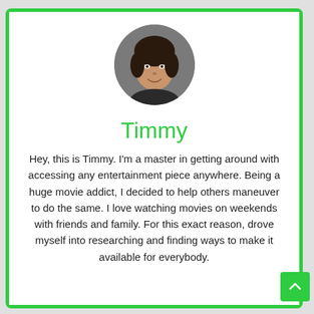[Figure (photo): Circular profile photo of a woman with dark hair, smiling, on a gray background]
Timmy
Hey, this is Timmy. I'm a master in getting around with accessing any entertainment piece anywhere. Being a huge movie addict, I decided to help others maneuver to do the same. I love watching movies on weekends with friends and family. For this exact reason, drove myself into researching and finding ways to make it available for everybody.